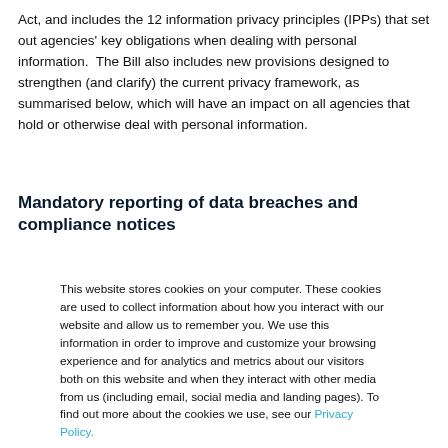Act, and includes the 12 information privacy principles (IPPs) that set out agencies' key obligations when dealing with personal information.  The Bill also includes new provisions designed to strengthen (and clarify) the current privacy framework, as summarised below, which will have an impact on all agencies that hold or otherwise deal with personal information.
Mandatory reporting of data breaches and compliance notices
This website stores cookies on your computer. These cookies are used to collect information about how you interact with our website and allow us to remember you. We use this information in order to improve and customize your browsing experience and for analytics and metrics about our visitors both on this website and when they interact with other media from us (including email, social media and landing pages). To find out more about the cookies we use, see our Privacy Policy.